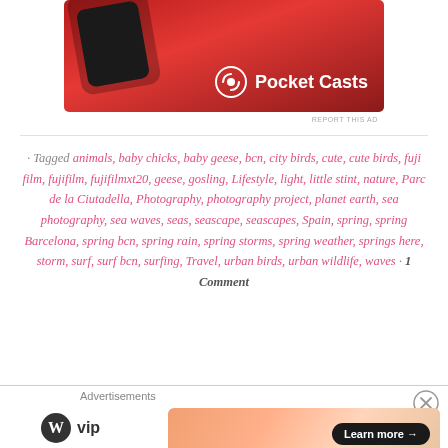[Figure (screenshot): Pocket Casts app advertisement banner — red background with phone device partially visible, showing Pocket Casts logo (circular icon and text 'Pocket Casts') in white on bottom right]
REPORT THIS AD
· Tagged animals, baby chicks, baby geese, bcn, city birds, cute, cute birds, fuji film, fujifilm, fujifilmxt20, geese, gosling, Lifestyle, light, little stint, nature, Parc de la Ciutadella, Photography, photography project, planet earth, sea photography, sea waves, seas, seascape, seascapes, Spain, spring, spring Barcelona, spring bcn, spring rain, spring storms, spring weather, springs here, storm, surf, surf bcn, surfing, Travel, urban birds, urban wildlife, waves · 1 Comment
Advertisements
[Figure (logo): WordPress VIP logo — circular W icon with 'vip' text]
[Figure (screenshot): Advertisement banner with orange/peach gradient background and a 'Learn more →' button in dark pill shape]